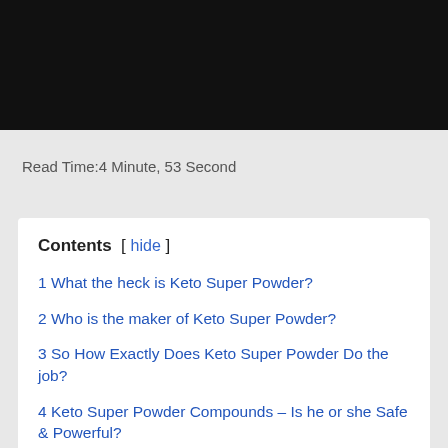[Figure (photo): Black header image area at top of page]
Read Time:4 Minute, 53 Second
Contents [ hide ]
1 What the heck is Keto Super Powder?
2 Who is the maker of Keto Super Powder?
3 So How Exactly Does Keto Super Powder Do the job?
4 Keto Super Powder Compounds – Is he or she Safe & Powerful?
5 Just what are the Benefits associated with Keto